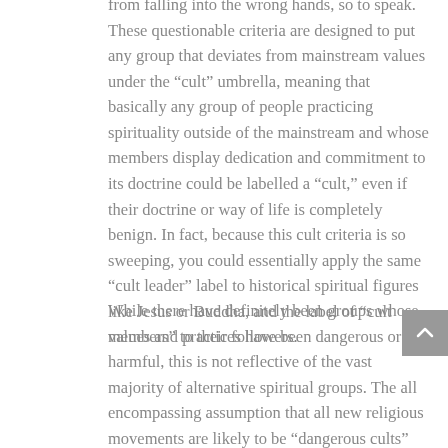from falling into the wrong hands, so to speak. These questionable criteria are designed to put any group that deviates from mainstream values under the “cult” umbrella, meaning that basically any group of people practicing spirituality outside of the mainstream and whose members display dedication and commitment to its doctrine could be labelled a “cult,” even if their doctrine or way of life is completely benign. In fact, because this cult criteria is so sweeping, you could essentially apply the same “cult leader” label to historical spiritual figures like Jesus or Buddha, and the label of “cult members” to their followers.
While there have definitely been groups whose values and practices have been dangerous or harmful, this is not reflective of the vast majority of alternative spiritual groups. The all encompassing assumption that all new religious movements are likely to be “dangerous cults” has now created an